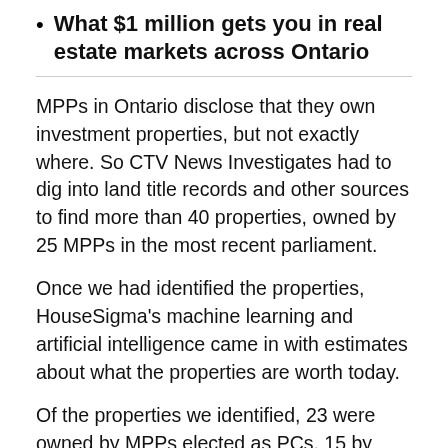What $1 million gets you in real estate markets across Ontario
MPPs in Ontario disclose that they own investment properties, but not exactly where. So CTV News Investigates had to dig into land title records and other sources to find more than 40 properties, owned by 25 MPPs in the most recent parliament.
Once we had identified the properties, HouseSigma's machine learning and artificial intelligence came in with estimates about what the properties are worth today.
Of the properties we identified, 23 were owned by MPPs elected as PCs, 15 by NDP MPPs,